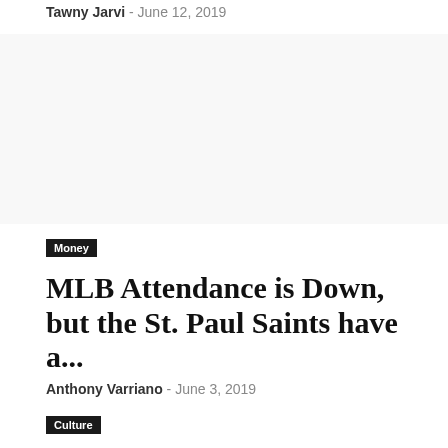Tawny Jarvi  -  June 12, 2019
[Figure (photo): Image placeholder area (blank/white)]
Money
MLB Attendance is Down, but the St. Paul Saints have a...
Anthony Varriano  -  June 3, 2019
Culture
Carter Stewart will not Damage the MLB Draft
Ben Beecken  -  May 31, 2019